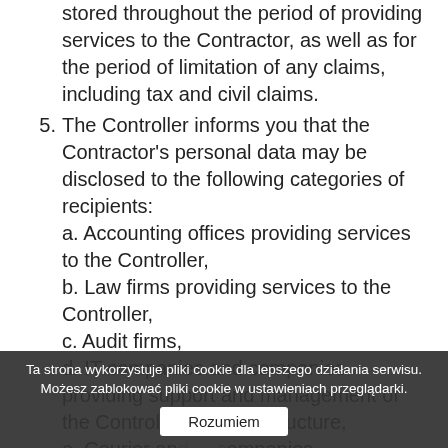stored throughout the period of providing services to the Contractor, as well as for the period of limitation of any claims, including tax and civil claims.
5. The Controller informs you that the Contractor's personal data may be disclosed to the following categories of recipients:
a. Accounting offices providing services to the Controller,
b. Law firms providing services to the Controller,
c. Audit firms,
d. IT companies and companies providing support and management of the Controller's IT infrastructure,
e. Courier and ... companies.
Ta strona wykorzystuje pliki cookie dla lepszego działania serwisu. Możesz zablokować pliki cookie w ustawieniach przeglądarki.